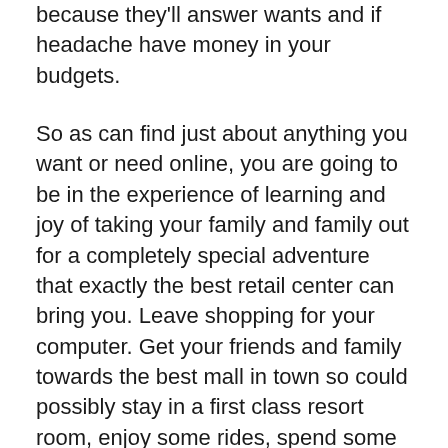because they'll answer wants and if headache have money in your budgets.
So as can find just about anything you want or need online, you are going to be in the experience of learning and joy of taking your family and family out for a completely special adventure that exactly the best retail center can bring you. Leave shopping for your computer. Get your friends and family towards the best mall in town so could possibly stay in a first class resort room, enjoy some rides, spend some time in the bowling alley and watch the latest concert inside of middle for this mall or at the mall parking area.
So it gets simpler...